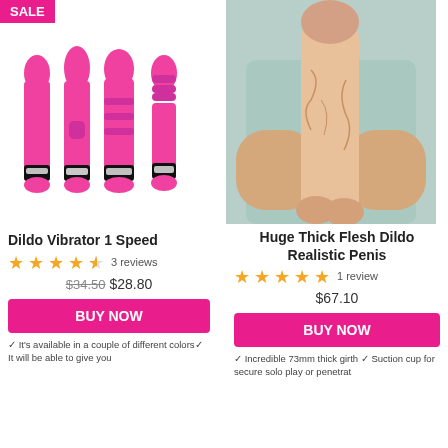[Figure (photo): Pink vibrator set showing 4 pink silicone vibrators with silver accents, on white background]
Dildo Vibrator 1 Speed
★★★★½ 3 reviews
$34.50 $28.80
BUY NOW
✓ It's available in a couple of different colors✓ It will be able to give you
[Figure (photo): Person in light blue top holding a large flesh-colored realistic dildo]
Huge Thick Flesh Dildo Realistic Penis
★★★★★ 1 review
$67.10
BUY NOW
✓ Incredible 73mm thick girth ✓ Suction cup for secure solo play or penetrat